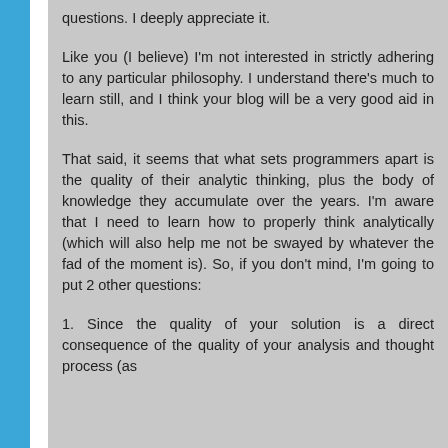questions. I deeply appreciate it.
Like you (I believe) I'm not interested in strictly adhering to any particular philosophy. I understand there's much to learn still, and I think your blog will be a very good aid in this.
That said, it seems that what sets programmers apart is the quality of their analytic thinking, plus the body of knowledge they accumulate over the years. I'm aware that I need to learn how to properly think analytically (which will also help me not be swayed by whatever the fad of the moment is). So, if you don't mind, I'm going to put 2 other questions:
1. Since the quality of your solution is a direct consequence of the quality of your analysis and thought process (as